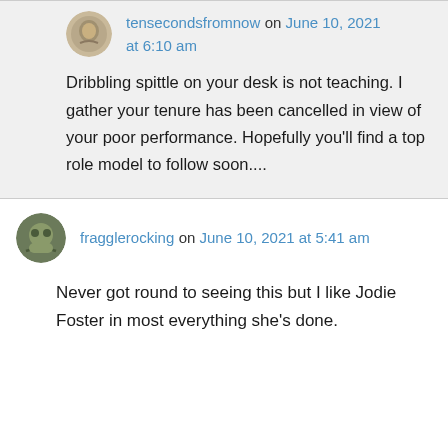tensecondsfromnow on June 10, 2021 at 6:10 am
Dribbling spittle on your desk is not teaching. I gather your tenure has been cancelled in view of your poor performance. Hopefully you'll find a top role model to follow soon....
fragglerocking on June 10, 2021 at 5:41 am
Never got round to seeing this but I like Jodie Foster in most everything she's done.